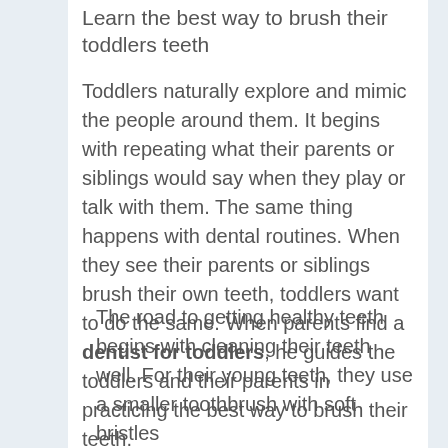Learn the best way to brush their toddlers teeth
Toddlers naturally explore and mimic the people around them. It begins with repeating what their parents or siblings would say when they play or talk with them. The same thing happens with dental routines. When they see their parents or siblings brush their own teeth, toddlers want to do the same. When parents find a dentist for toddlers, he guides the toddlers and their parents in practicing the best way to brush their teeth.
The road to getting healthy teeth begins with cleaning their teeth well. For their young teeth, they use a smaller toothbrush with soft bristles